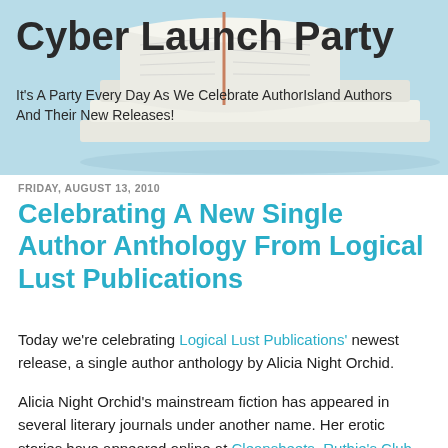[Figure (photo): Header banner with light blue background and a stack of open books photograph, overlaid with blog title text]
Cyber Launch Party
It's A Party Every Day As We Celebrate AuthorIsland Authors And Their New Releases!
FRIDAY, AUGUST 13, 2010
Celebrating A New Single Author Anthology From Logical Lust Publications
Today we're celebrating Logical Lust Publications' newest release, a single author anthology by Alicia Night Orchid.
Alicia Night Orchid's mainstream fiction has appeared in several literary journals under another name. Her erotic stories have appeared online at Cleansheets, Ruthie's Club, Sliptongue, Oysters and Chocolate, For the Girls, and the Erotica Readers and Writers' Association. Her story "Savage